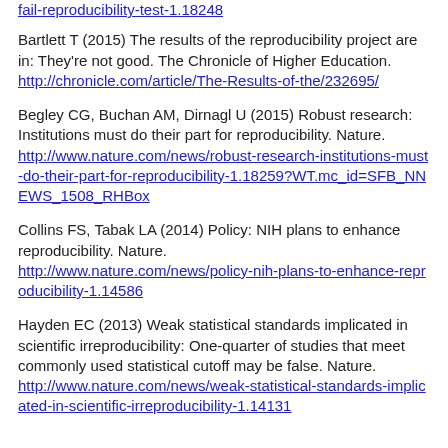fail-reproducibility-test-1.18248
Bartlett T (2015) The results of the reproducibility project are in: They're not good. The Chronicle of Higher Education. http://chronicle.com/article/The-Results-of-the/232695/
Begley CG, Buchan AM, Dirnagl U (2015) Robust research: Institutions must do their part for reproducibility. Nature. http://www.nature.com/news/robust-research-institutions-must-do-their-part-for-reproducibility-1.18259?WT.mc_id=SFB_NNEWS_1508_RHBox
Collins FS, Tabak LA (2014) Policy: NIH plans to enhance reproducibility. Nature. http://www.nature.com/news/policy-nih-plans-to-enhance-reproducibility-1.14586
Hayden EC (2013) Weak statistical standards implicated in scientific irreproducibility: One-quarter of studies that meet commonly used statistical cutoff may be false. Nature. http://www.nature.com/news/weak-statistical-standards-implicated-in-scientific-irreproducibility-1.14131